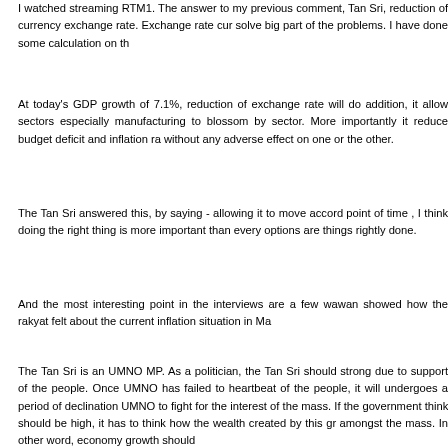I watched streaming RTM1. The answer to my previous comment, Tan Sri, reduction of currency exchange rate. Exchange rate cu... solve big part of the problems. I have done some calculation on th...
At today's GDP growth of 7.1%, reduction of exchange rate will d... addition, it allow sectors especially manufacturing to blossom b... sector. More importantly it reduce budget deficit and inflation r... without any adverse effect on one or the other.
The Tan Sri answered this, by saying - allowing it to move accord... point of time , I think doing the right thing is more important than... every options are things rightly done.
And the most interesting point in the interviews are a few wawa... showed how the rakyat felt about the current inflation situation in M...
The Tan Sri is an UMNO MP. As a politician, the Tan Sri should... strong due to support of the people. Once UMNO has failed to... heartbeat of the people, it will undergoes a period of declinatio... UMNO to fight for the interest of the mass. If the government thin... should be high, it has to think how the wealth created by this g... amongst the mass. In other word, economy growth should... Therefore when mass has spoken as shown in the interviews wit... of the program, the voice within UMNO should be the voice of the...
Structuring of subsidy berdasarkan kepada keperluan dan bukan... the employer and not by the government. This is due to the fact t...